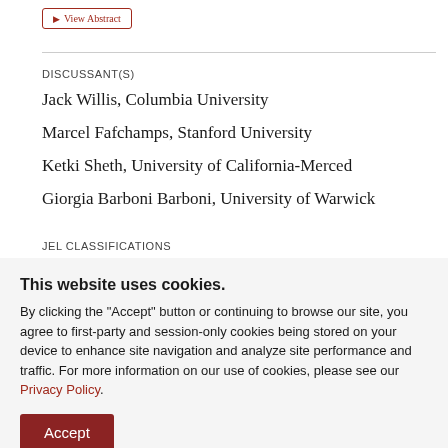DISCUSSANT(S)
Jack Willis, Columbia University
Marcel Fafchamps, Stanford University
Ketki Sheth, University of California-Merced
Giorgia Barboni Barboni, University of Warwick
JEL CLASSIFICATIONS
This website uses cookies. By clicking the "Accept" button or continuing to browse our site, you agree to first-party and session-only cookies being stored on your device to enhance site navigation and analyze site performance and traffic. For more information on our use of cookies, please see our Privacy Policy.